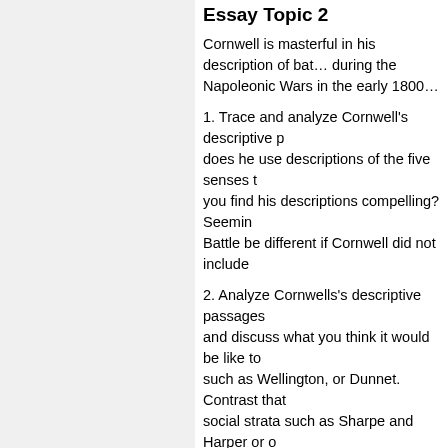Essay Topic 2
Cornwell is masterful in his description of bat... during the Napoleonic Wars in the early 1800...
1. Trace and analyze Cornwell's descriptive p... does he use descriptions of the five senses t... you find his descriptions compelling? Seemin... Battle be different if Cornwell did not include...
2. Analyze Cornwells's descriptive passages... and discuss what you think it would be like to... such as Wellington, or Dunnet. Contrast that... social strata such as Sharpe and Harper or o... and/or privilege.
3. Describe and analyze Cornwell's descripti... setting and the physical descriptions of the p... job of actually making the reader "see" the la... How about getting a visual image of the char... the setting add to the novel? Do you like hav... How would the novel be different without suc...
Essay Topic 3
Most of the French are gone when Sharpe a... except for two men who are raping a young S... Sharpe and Harper enter the rest of the cotta... civilians have been slaughtered, some torture... children. Sharpe gathers his men and prepar... are left. Sharpe has the two prisoners put up...